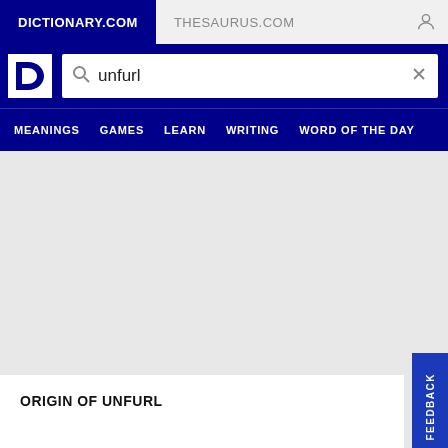DICTIONARY.COM | THESAURUS.COM
[Figure (screenshot): Dictionary.com logo - white letter D on blue background]
unfurl
MEANINGS  GAMES  LEARN  WRITING  WORD OF THE DAY
ORIGIN OF UNFURL
FEEDBACK